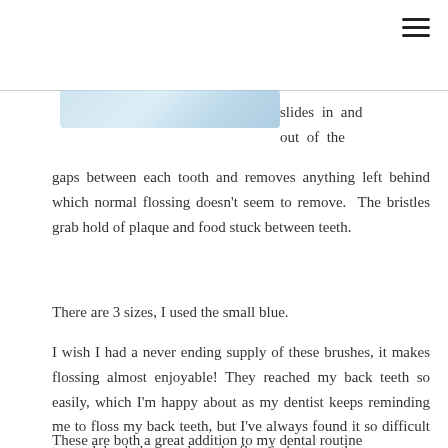[Figure (photo): Partial image of dental floss brush product, light blue/teal color, cropped at top of page]
slides in and out of the gaps between each tooth and removes anything left behind which normal flossing doesn't seem to remove. The bristles grab hold of plaque and food stuck between teeth.
There are 3 sizes, I used the small blue.
I wish I had a never ending supply of these brushes, it makes flossing almost enjoyable! They reached my back teeth so easily, which I'm happy about as my dentist keeps reminding me to floss my back teeth, but I've always found it so difficult to reach back there and get the floss in between them.
These are both a great addition to my dental routine